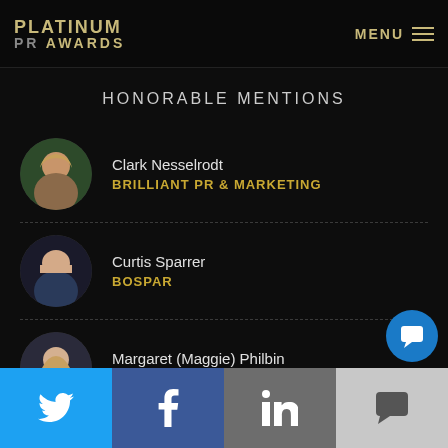PLATINUM PR AWARDS | MENU
HONORABLE MENTIONS
Clark Nesselrodt — BRILLIANT PR & MARKETING
Curtis Sparrer — BOSPAR
Margaret (Maggie) Philbin — VSC